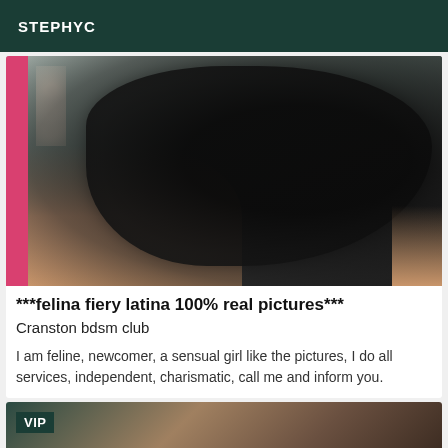STEPHYC
[Figure (photo): Photo of a person wearing black lace lingerie, with a pink bar on the left side and floral elements in the background. The image is cropped to show the torso area.]
***felina fiery latina 100% real pictures***
Cranston bdsm club
I am feline, newcomer, a sensual girl like the pictures, I do all services, independent, charismatic, call me and inform you.
[Figure (photo): Partial photo with VIP badge in the top-left corner, showing a cropped image with dark tones.]